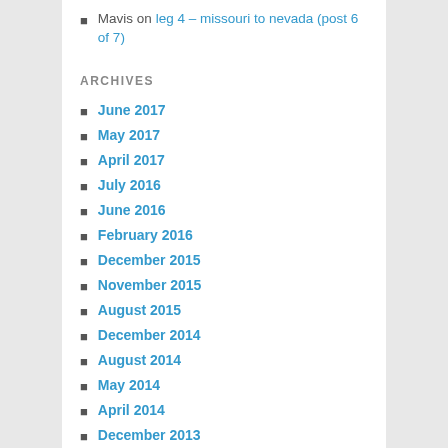Mavis on leg 4 – missouri to nevada (post 6 of 7)
ARCHIVES
June 2017
May 2017
April 2017
July 2016
June 2016
February 2016
December 2015
November 2015
August 2015
December 2014
August 2014
May 2014
April 2014
December 2013
November 2013
October 2013
September 2013